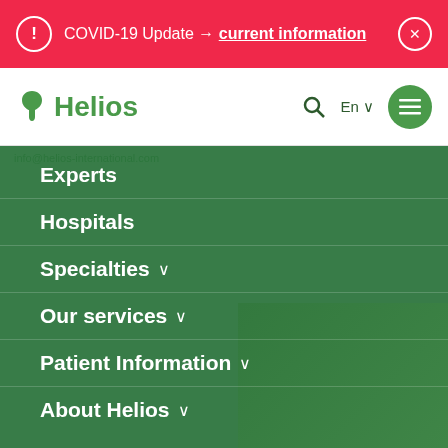COVID-19 Update → current information
[Figure (logo): Helios hospital logo with green leaf/stethoscope icon and 'Helios' wordmark in green]
info@helios-international.com
Experts
The patient story: Frank Wernicke talks about a stem cell transplantation
Home | ... | Hematology | The patient story: Frank Wernicke talks about a stem cell transplantation
Hospitals
Specialties
Our services
Patient Information
About Helios